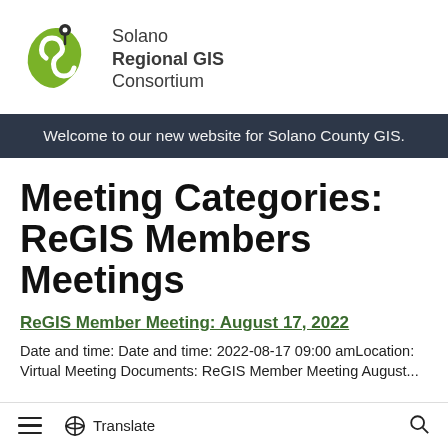[Figure (logo): Solano Regional GIS Consortium logo: green stylized S-shape map icon with location pin, next to text 'Solano Regional GIS Consortium']
Welcome to our new website for Solano County GIS.
Meeting Categories: ReGIS Members Meetings
ReGIS Member Meeting: August 17, 2022
Date and time: Date and time: 2022-08-17 09:00 amLocation:
Virtual Meeting Documents: ReGIS Member Meeting August...